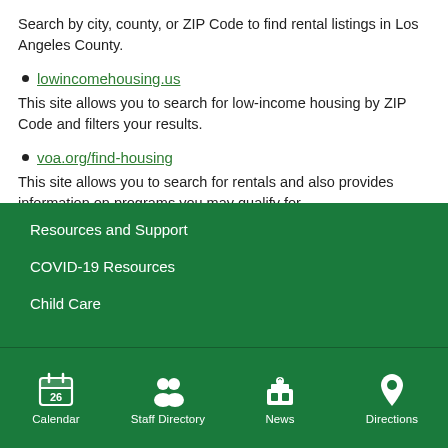Search by city, county, or ZIP Code to find rental listings in Los Angeles County.
lowincomehousing.us
This site allows you to search for low-income housing by ZIP Code and filters your results.
voa.org/find-housing
This site allows you to search for rentals and also provides information on programs you may qualify for.
Resources and Support
COVID-19 Resources
Child Care
Calendar  Staff Directory  News  Directions